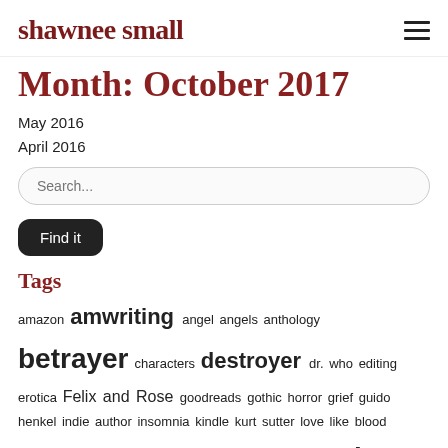shawnee small
Month: October 2017
May 2016
April 2016
Tags
amazon amwriting angel angels anthology betrayer characters destroyer dr. who editing erotica Felix and Rose goodreads gothic horror grief guido henkel indie author insomnia kindle kurt sutter love like blood Neil Gaiman nephilim paranormal paranormal suspense pnr